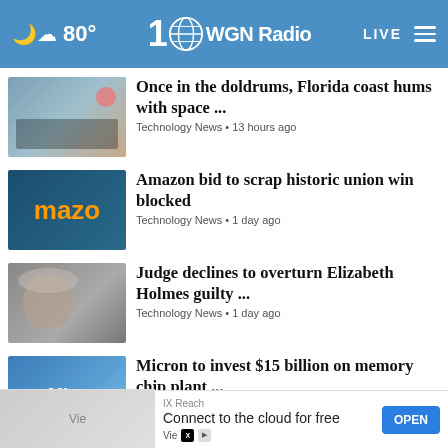WGN Radio 720 — 80° — LIVE
Once in the doldrums, Florida coast hums with space ... — Technology News • 13 hours ago
Amazon bid to scrap historic union win blocked — Technology News • 1 day ago
Judge declines to overturn Elizabeth Holmes guilty ... — Technology News • 1 day ago
Micron to invest $15 billion on memory chip plant ... — Technology News • 1 day ago
Twitter testing 'Edit Tweet' feature — News • 1 day ago
IX Reach — Connect to the cloud for free — OPEN